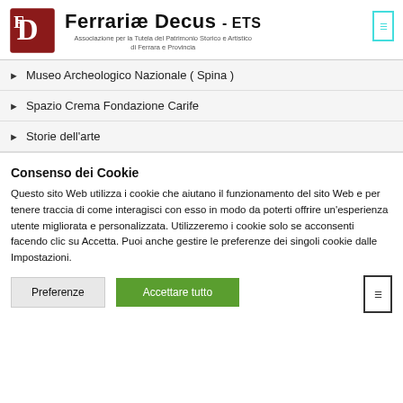[Figure (logo): Ferrariæ Decus ETS logo with red shield/letter design and subtitle 'Associazione per la Tutela del Patrimonio Storico e Artistico di Ferrara e Provincia']
Museo Archeologico Nazionale ( Spina )
Spazio Crema Fondazione Carife
Storie dell'arte
Consenso dei Cookie
Questo sito Web utilizza i cookie che aiutano il funzionamento del sito Web e per tenere traccia di come interagisci con esso in modo da poterti offrire un'esperienza utente migliorata e personalizzata. Utilizzeremo i cookie solo se acconsenti facendo clic su Accetta. Puoi anche gestire le preferenze dei singoli cookie dalle Impostazioni.
Preferenze | Accettare tutto